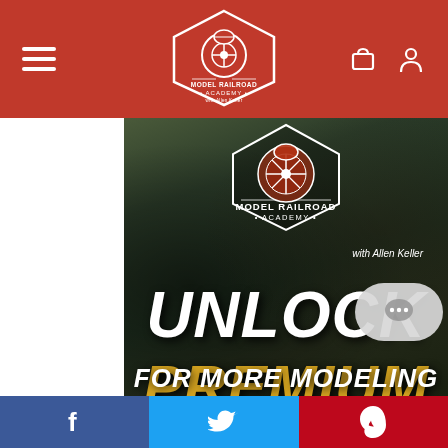Model Railroad Academy - website header with hamburger menu, logo, and cart/user icons
[Figure (screenshot): Model Railroad Academy promotional banner showing logo with train graphic and text: UNLOCK PREMIUM VIDEOS FOR MORE MODELING, with Allen Keller credit. Background shows model railroad landscape.]
Social share bar with Facebook, Twitter, and Pinterest icons